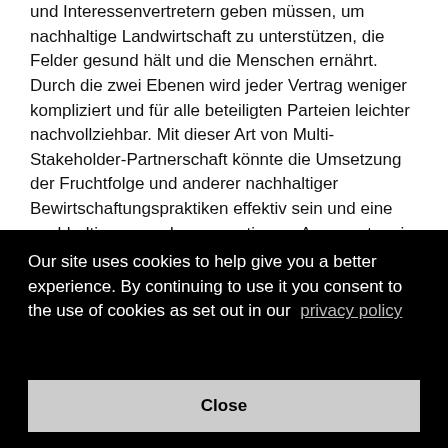und Interessenvertretern geben müssen, um nachhaltige Landwirtschaft zu unterstützen, die Felder gesund hält und die Menschen ernährt. Durch die zwei Ebenen wird jeder Vertrag weniger kompliziert und für alle beteiligten Parteien leichter nachvollziehbar. Mit dieser Art von Multi-Stakeholder-Partnerschaft könnte die Umsetzung der Fruchtfolge und anderer nachhaltiger Bewirtschaftungspraktiken effektiv sein und eine nachhaltigeres und regenerativeres Agrarsystem in ganz Europa erreicht werden.
Die Studie arbeitete mit Forschern der Universität ... in ... men, ... ette
Our site uses cookies to help give you a better experience. By continuing to use it you consent to the use of cookies as set out in our privacy policy
Close
Dieses Thema ist ein Mentor von Einreichungen...